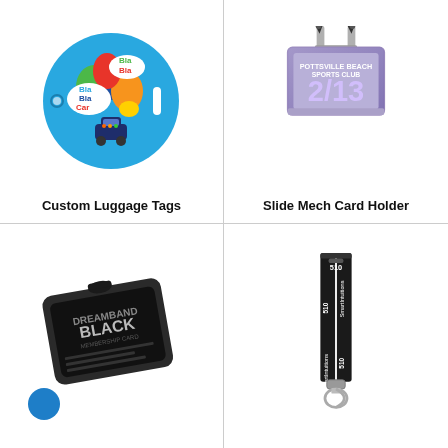[Figure (photo): Round blue BlaBlaCar branded luggage tag with colorful balloons and car logo]
Custom Luggage Tags
[Figure (photo): Slide mechanism card holder with Pottsville Beach Sports Club card showing number 2/13, with metal clip]
Slide Mech Card Holder
[Figure (photo): Black Dreamband card holder with membership card inside]
[Figure (photo): Black lanyard with Smart Intuitions and 510 branding, metal swivel hook at bottom]